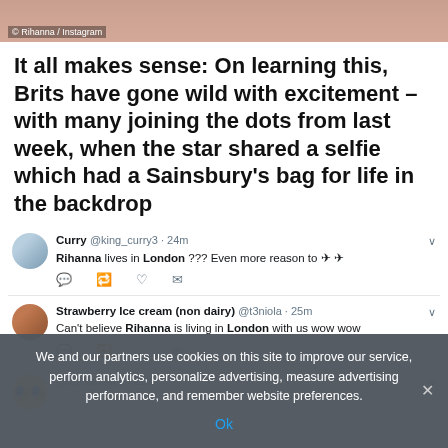[Figure (photo): Cropped photo with copyright caption: © Rihanna / Instagram]
© Rihanna / Instagram
It all makes sense: On learning this, Brits have gone wild with excitement – with many joining the dots from last week, when the star shared a selfie which had a Sainsbury's bag for life in the backdrop
Curry @king_curry3 · 24m
Rihanna lives in London ??? Even more reason to ✈ ✈
Strawberry Ice cream (non dairy) @t3niola · 25m
Can't believe Rihanna is living in London with us wow wow
🎭🎭 @itsyxsminee · 25m
We and our partners use cookies on this site to improve our service, perform analytics, personalize advertising, measure advertising performance, and remember website preferences.